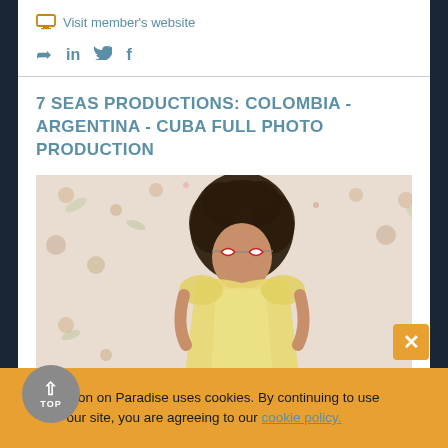Visit member's website
[Figure (screenshot): Social share icons: share arrow, LinkedIn, Twitter, Facebook]
7 SEAS PRODUCTIONS: COLOMBIA - ARGENTINA - CUBA FULL PHOTO PRODUCTION
[Figure (photo): Fashion photo of a young woman with curly hair wearing white cat-eye sunglasses and a yellow dress, standing in front of a floral wallpaper background]
Production on Paradise uses cookies. By continuing to use our site, you are agreeing to our cookie policy.